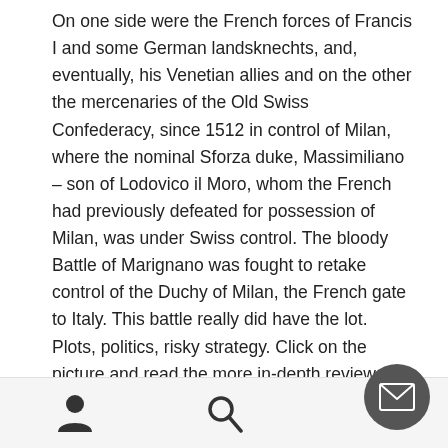On one side were the French forces of Francis I and some German landsknechts, and, eventually, his Venetian allies and on the other the mercenaries of the Old Swiss Confederacy, since 1512 in control of Milan, where the nominal Sforza duke, Massimiliano – son of Lodovico il Moro, whom the French had previously defeated for possession of Milan, was under Swiss control. The bloody Battle of Marignano was fought to retake control of the Duchy of Milan, the French gate to Italy. This battle really did have the lot. Plots, politics, risky strategy. Click on the picture and read the more in-depth review that is the books description.
The Barons War looks at a much earlier and longer ti...
[person icon] [search icon] [mail icon]